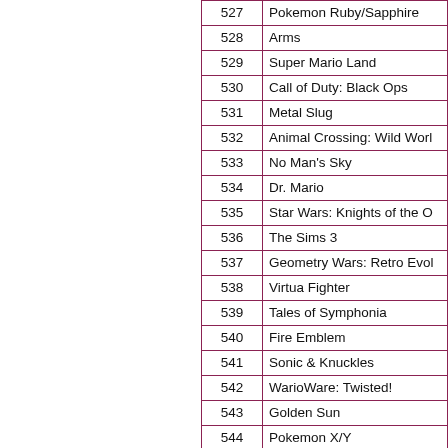| # | Title |
| --- | --- |
| 527 | Pokemon Ruby/Sapphire |
| 528 | Arms |
| 529 | Super Mario Land |
| 530 | Call of Duty: Black Ops |
| 531 | Metal Slug |
| 532 | Animal Crossing: Wild World |
| 533 | No Man's Sky |
| 534 | Dr. Mario |
| 535 | Star Wars: Knights of the O… |
| 536 | The Sims 3 |
| 537 | Geometry Wars: Retro Evol… |
| 538 | Virtua Fighter |
| 539 | Tales of Symphonia |
| 540 | Fire Emblem |
| 541 | Sonic & Knuckles |
| 542 | WarioWare: Twisted! |
| 543 | Golden Sun |
| 544 | Pokemon X/Y |
| 545 | Mafia: The City of Lost Hea… |
| 546 | Kid Icarus |
| 547 | Super Puzzle Fighter II Turb… |
| 548 | FIFA 12 |
| 549 | Grand Theft Auto… |